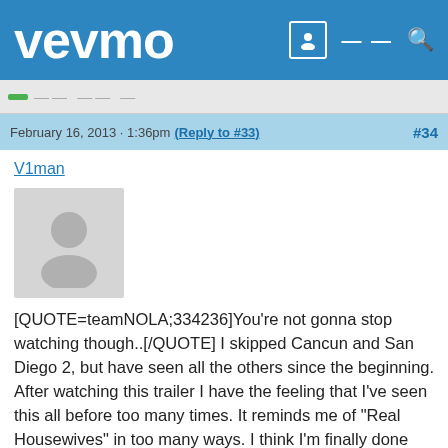vevmo
February 16, 2013 · 1:36pm (Reply to #33) #34
V1man
[Figure (photo): Default user avatar placeholder - silhouette of a person on grey background]
[QUOTE=teamNOLA;334236]You're not gonna stop watching though..[/QUOTE] I skipped Cancun and San Diego 2, but have seen all the others since the beginning. After watching this trailer I have the feeling that I've seen this all before too many times. It reminds me of "Real Housewives" in too many ways. I think I'm finally done with Real World. I know I now definitely have better viewing choices at 10 pm on Wednesdays. Good luck too all of you who will be watching.